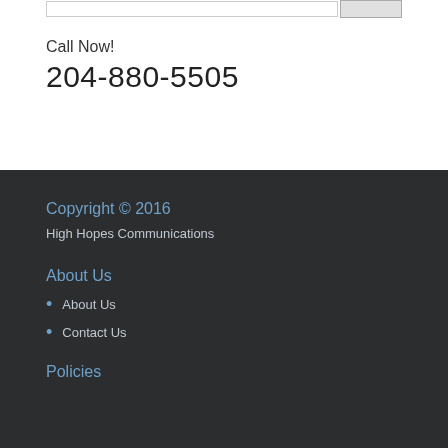Call Now!
204-880-5505
Copyright © 2016
High Hopes Communications
About Us
About Us
Contact Us
Policies